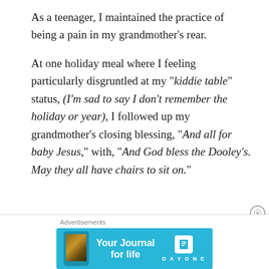As a teenager, I maintained the practice of being a pain in my grandmother’s rear.
At one holiday meal where I feeling particularly disgruntled at my “kiddie table” status, (I’m sad to say I don’t remember the holiday or year), I followed up my grandmother’s closing blessing, “And all for baby Jesus,” with, “And God bless the Dooley’s. May they all have chairs to sit on.”
[Figure (other): Advertisement banner for Day One journal app showing a smartphone with the app open, text 'Your Journal for life' and the Day One logo.]